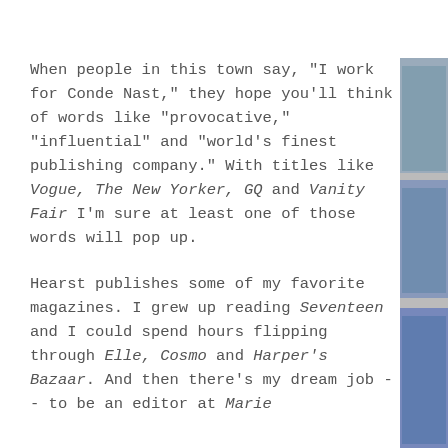When people in this town say, "I work for Conde Nast," they hope you'll think of words like "provocative," "influential" and "world's finest publishing company." With titles like Vogue, The New Yorker, GQ and Vanity Fair I'm sure at least one of those words will pop up.
Hearst publishes some of my favorite magazines. I grew up reading Seventeen and I could spend hours flipping through Elle, Cosmo and Harper's Bazaar. And then there's my dream job -- to be an editor at Marie
[Figure (photo): Partial sidebar with three photo thumbnails visible on the right edge of the page]